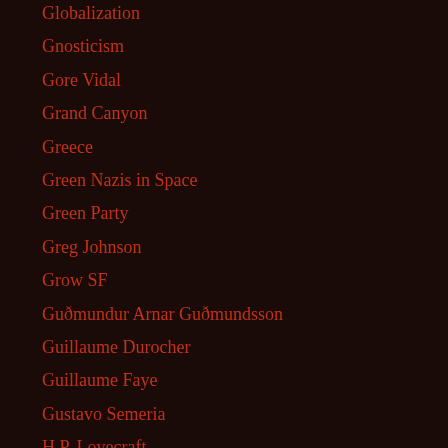Globalization
Gnosticism
Gore Vidal
Grand Canyon
Greece
Green Nazis in Space
Green Party
Greg Johnson
Grow SF
Guðmundur Arnar Guðmundsson
Guillaume Durocher
Guillaume Faye
Gustavo Semeria
H.P. Lovecraft
Ha-Joon Chang